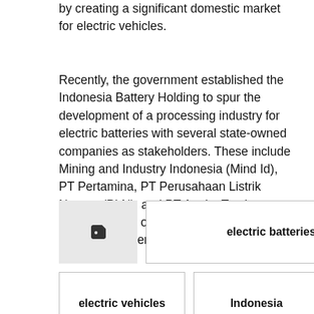by creating a significant domestic market for electric vehicles.
Recently, the government established the Indonesia Battery Holding to spur the development of a processing industry for electric batteries with several state-owned companies as stakeholders. These include Mining and Industry Indonesia (Mind Id), PT Pertamina, PT Perusahaan Listrik Negara (PLN), and PT Aneka Tambang (Antam). Each own a 25% stake in the Indonesia Battery Corporation.
[Figure (other): Tag/label icon followed by tag boxes: 'electric batteries', 'electric vehicles', 'Indonesia', and a partially visible tag box at the bottom]